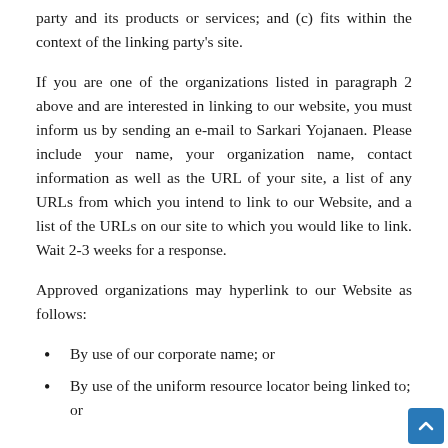party and its products or services; and (c) fits within the context of the linking party’s site.
If you are one of the organizations listed in paragraph 2 above and are interested in linking to our website, you must inform us by sending an e-mail to Sarkari Yojanaen. Please include your name, your organization name, contact information as well as the URL of your site, a list of any URLs from which you intend to link to our Website, and a list of the URLs on our site to which you would like to link. Wait 2-3 weeks for a response.
Approved organizations may hyperlink to our Website as follows:
By use of our corporate name; or
By use of the uniform resource locator being linked to; or